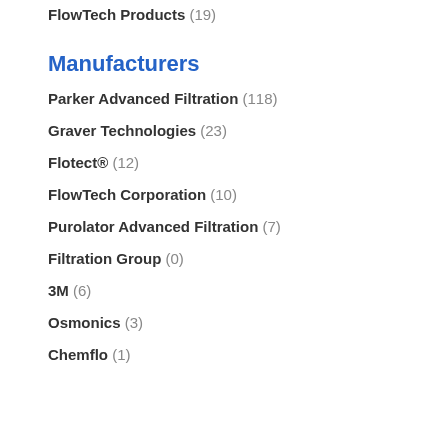FlowTech Products (19)
Manufacturers
Parker Advanced Filtration (118)
Graver Technologies (23)
Flotect® (12)
FlowTech Corporation (10)
Purolator Advanced Filtration (7)
Filtration Group (0)
3M (6)
Osmonics (3)
Chemflo (1)